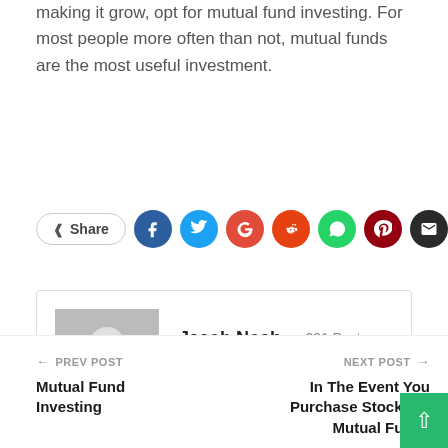making it grow, opt for mutual fund investing. For most people more often than not, mutual funds are the most useful investment.
[Figure (infographic): Share button and social media icons row: Share button, Facebook (blue), Twitter (light blue), Google (red-orange), Reddit (orange-red), WhatsApp (green), Pinterest (dark red), Email (dark/black)]
Jacob Noah - 231 Posts - 0 Comments
← PREV POST
Mutual Fund Investing
NEXT POST →
In The Event You Purchase Stocks or Mutual Funds